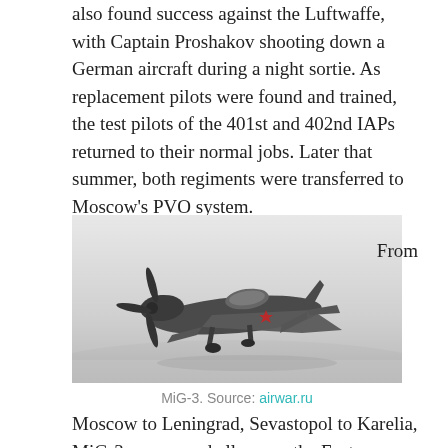also found success against the Luftwaffe, with Captain Proshakov shooting down a German aircraft during a night sortie. As replacement pilots were found and trained, the test pilots of the 401st and 402nd IAPs returned to their normal jobs. Later that summer, both regiments were transferred to Moscow's PVO system.
[Figure (photo): Black and white photograph of a MiG-3 Soviet fighter aircraft on the ground, viewed from a low angle, showing the propeller, wings with a red star marking, and landing gear.]
From
MiG-3. Source: airwar.ru
Moscow to Leningrad, Sevastopol to Karelia, MiG-3s were used all across the Eastern Front in the